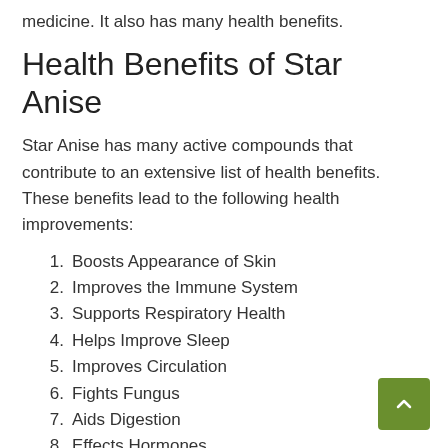medicine. It also has many health benefits.
Health Benefits of Star Anise
Star Anise has many active compounds that contribute to an extensive list of health benefits. These benefits lead to the following health improvements:
1. Boosts Appearance of Skin
2. Improves the Immune System
3. Supports Respiratory Health
4. Helps Improve Sleep
5. Improves Circulation
6. Fights Fungus
7. Aids Digestion
8. Effects Hormones
9. Minimizes Risk of Cancer
10. Helps With Diabetes